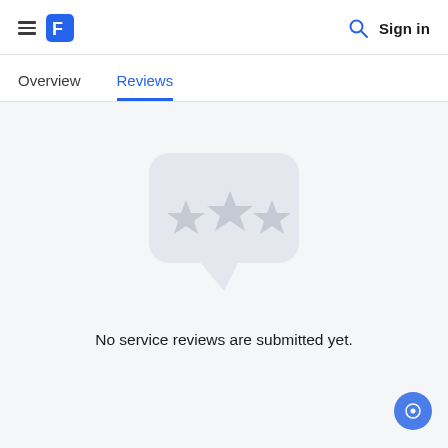≡  [Logo]  |  [Search]  Sign in
Overview | Reviews
[Figure (illustration): A speech bubble icon with three stars inside, rendered in light gray, indicating a reviews/rating placeholder.]
No service reviews are submitted yet.